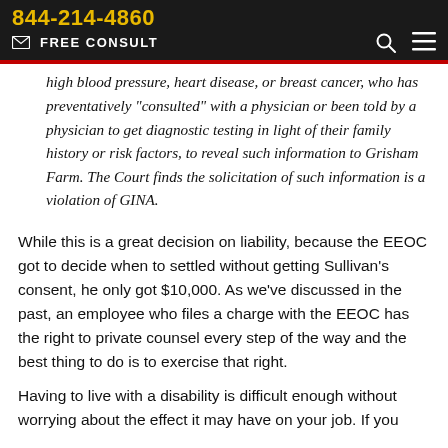844-214-4860
✉ FREE CONSULT
high blood pressure, heart disease, or breast cancer, who has preventatively "consulted" with a physician or been told by a physician to get diagnostic testing in light of their family history or risk factors, to reveal such information to Grisham Farm. The Court finds the solicitation of such information is a violation of GINA.
While this is a great decision on liability, because the EEOC got to decide when to settled without getting Sullivan's consent, he only got $10,000. As we've discussed in the past, an employee who files a charge with the EEOC has the right to private counsel every step of the way and the best thing to do is to exercise that right.
Having to live with a disability is difficult enough without worrying about the effect it may have on your job. If you